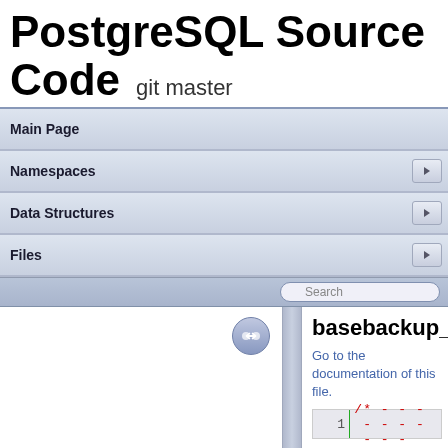PostgreSQL Source Code  git master
Main Page
Namespaces
Data Structures
Files
basebackup_gzip
Go to the documentation of this file.
1  /* ----------
src  backend  backup  basebackup_gzip.c